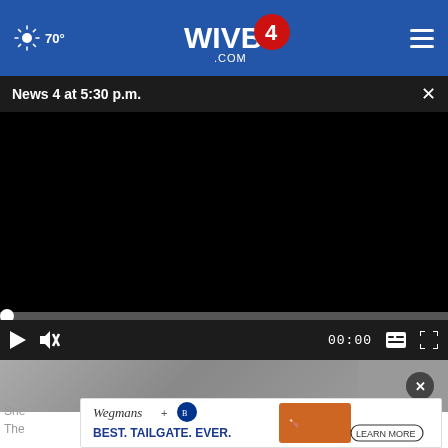70° WIVB4.COM
News 4 at 5:30 p.m.
[Figure (screenshot): Black video player area showing News 4 at 5:30 p.m. broadcast, currently paused/loading with video controls: play button, mute icon, 00:00 timestamp, captions and fullscreen buttons]
[Figure (photo): Thumbnail strip showing partial image beneath video player with a circular close button]
[Figure (other): Advertisement banner: Wegmans + Buffalo Bills logo - BEST. TAILGATE. EVER. with chicken wings image and LEARN MORE button]